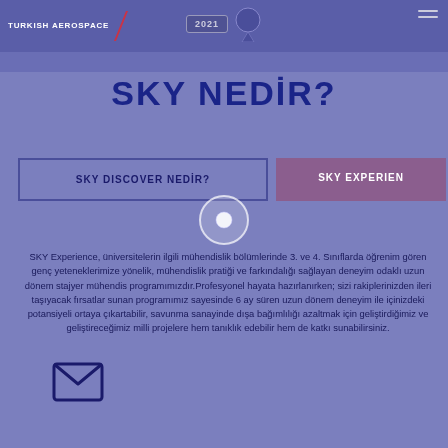TURKISH AEROSPACE — 2021
SKY NEDİR?
SKY DISCOVER NEDİR?
SKY EXPERIEN
SKY Experience, üniversitelerin ilgili mühendislik bölümlerinde 3. ve 4. Sınıflarda öğrenim gören genç yeteneklerimize yönelik, mühendislik pratiği ve farkındalığı sağlayan deneyim odaklı uzun dönem stajyer mühendis programımızdır.Profesyonel hayata hazırlanırken; sizi rakiplerinizden ileri taşıyacak fırsatlar sunan programımız sayesinde 6 ay süren uzun dönem deneyim ile içinizdeki potansiyeli ortaya çıkartabilir, savunma sanayinde dışa bağımlılığı azaltmak için geliştirdiğimiz ve geliştireceğimiz milli projelere hem tanıklık edebilir hem de katkı sunabilirsiniz.